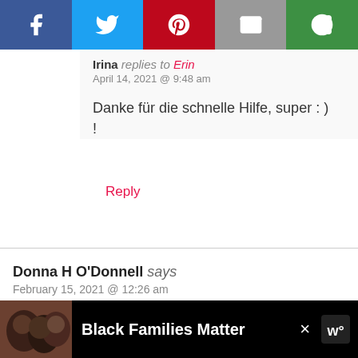[Figure (other): Social media share bar with Facebook, Twitter, Pinterest, Email, and a green share icon button]
Irina replies to Erin
April 14, 2021 @ 9:48 am

Danke für die schnelle Hilfe, super : ) !
Reply
Donna H O'Donnell says
February 15, 2021 @ 12:26 am

Can these cookies be frozen and still taste great?
Reply
[Figure (other): Scroll to top widget]
[Figure (other): Ad banner: Black Families Matter with photo of smiling people]